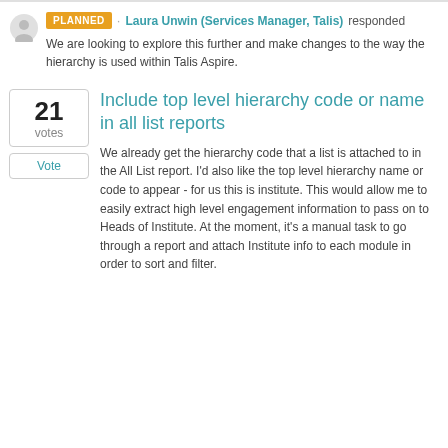PLANNED · Laura Unwin (Services Manager, Talis) responded
We are looking to explore this further and make changes to the way the hierarchy is used within Talis Aspire.
Include top level hierarchy code or name in all list reports
We already get the hierarchy code that a list is attached to in the All List report. I'd also like the top level hierarchy name or code to appear - for us this is institute. This would allow me to easily extract high level engagement information to pass on to Heads of Institute. At the moment, it's a manual task to go through a report and attach Institute info to each module in order to sort and filter.